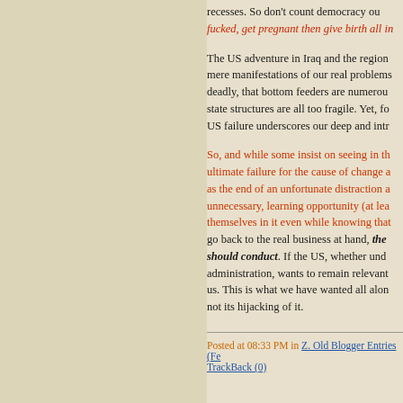recesses. So don't count democracy ou... fucked, get pregnant then give birth all in...
The US adventure in Iraq and the region are mere manifestations of our real problems... deadly, that bottom feeders are numerous... state structures are all too fragile. Yet, fo... US failure underscores our deep and intr...
So, and while some insist on seeing in th... ultimate failure for the cause of change a... as the end of an unfortunate distraction a... unnecessary, learning opportunity (at lea... themselves in it even while knowing that... go back to the real business at hand, the should conduct. If the US, whether und... administration, wants to remain relevant... us. This is what we have wanted all alon... not its hijacking of it.
Posted at 08:33 PM in Z. Old Blogger Entries (Fe... TrackBack (0)